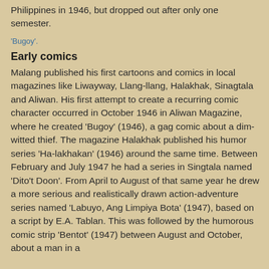Philippines in 1946, but dropped out after only one semester.
'Bugoy'.
Early comics
Malang published his first cartoons and comics in local magazines like Liwayway, Llang-llang, Halakhak, Sinagtala and Aliwan. His first attempt to create a recurring comic character occurred in October 1946 in Aliwan Magazine, where he created 'Bugoy' (1946), a gag comic about a dim-witted thief. The magazine Halakhak published his humor series 'Ha-lakhakan' (1946) around the same time. Between February and July 1947 he had a series in Singtala named 'Dito't Doon'. From April to August of that same year he drew a more serious and realistically drawn action-adventure series named 'Labuyo, Ang Limpiya Bota' (1947), based on a script by E.A. Tablan. This was followed by the humorous comic strip 'Bentot' (1947) between August and October, about a man in a